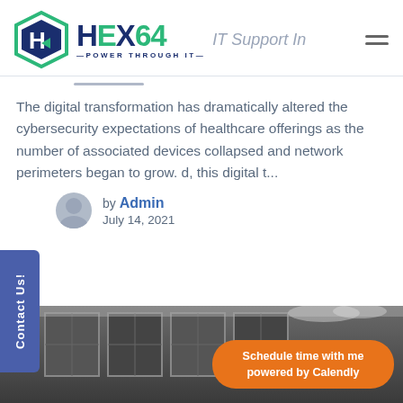[Figure (logo): HEX64 logo with hexagon icon and tagline POWER THROUGH IT]
IT Support In
The digital transformation has dramatically altered the cybersecurity expectations of healthcare offerings as the number of associated devices collapsed and network perimeters began to grow. d, this digital t...
Contact Us!
by Admin
July 14, 2021
[Figure (photo): Black and white photo of windows/building with Calendly scheduling button overlay]
Schedule time with me
powered by Calendly